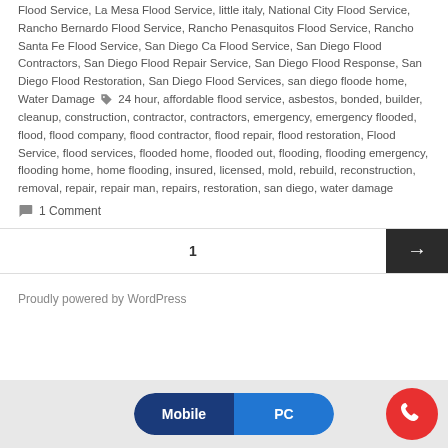Flood Service, La Mesa Flood Service, little italy, National City Flood Service, Rancho Bernardo Flood Service, Rancho Penasquitos Flood Service, Rancho Santa Fe Flood Service, San Diego Ca Flood Service, San Diego Flood Contractors, San Diego Flood Repair Service, San Diego Flood Response, San Diego Flood Restoration, San Diego Flood Services, san diego floode home, Water Damage [tag icon] 24 hour, affordable flood service, asbestos, bonded, builder, cleanup, construction, contractor, contractors, emergency, emergency flooded, flood, flood company, flood contractor, flood repair, flood restoration, Flood Service, flood services, flooded home, flooded out, flooding, flooding emergency, flooding home, home flooding, insured, licensed, mold, rebuild, reconstruction, removal, repair, repair man, repairs, restoration, san diego, water damage
1 Comment
1
Proudly powered by WordPress
Mobile  PC